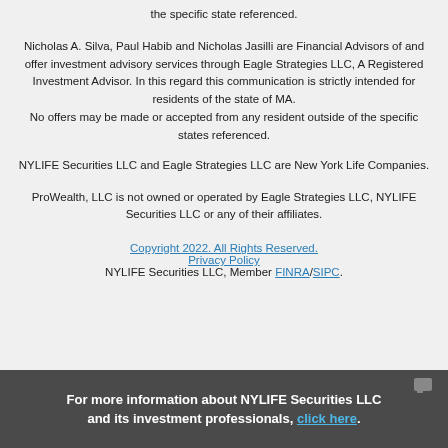the specific state referenced.
Nicholas A. Silva, Paul Habib and Nicholas Jasilli are Financial Advisors of and offer investment advisory services through Eagle Strategies LLC, A Registered Investment Advisor. In this regard this communication is strictly intended for residents of the state of MA. No offers may be made or accepted from any resident outside of the specific states referenced.
NYLIFE Securities LLC and Eagle Strategies LLC are New York Life Companies.
ProWealth, LLC is not owned or operated by Eagle Strategies LLC, NYLIFE Securities LLC or any of their affiliates.
Copyright 2022. All Rights Reserved.
Privacy Policy
NYLIFE Securities LLC, Member FINRA/SIPC.
For more information about NYLIFE Securities LLC and its investment professionals, click here.